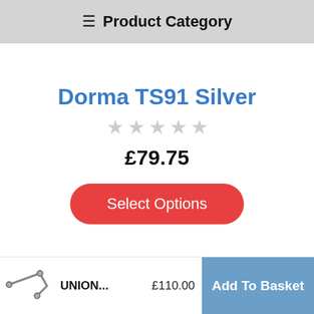≡ Product Category
Dorma TS91 Silver
★★★★★ (empty stars, 0 rating)
£79.75
Select Options
[Figure (photo): Small thumbnail image of a door closer product (UNION brand)]
UNION... £110.00 Add To Basket